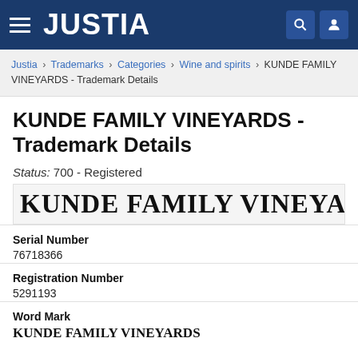JUSTIA
Justia > Trademarks > Categories > Wine and spirits > KUNDE FAMILY VINEYARDS - Trademark Details
KUNDE FAMILY VINEYARDS - Trademark Details
Status: 700 - Registered
[Figure (other): Trademark logo display: KUNDE FAMILY VINEYARDS in large serif bold font on light gray background]
| Serial Number | 76718366 |
| Registration Number | 5291193 |
| Word Mark | KUNDE FAMILY VINEYARDS |